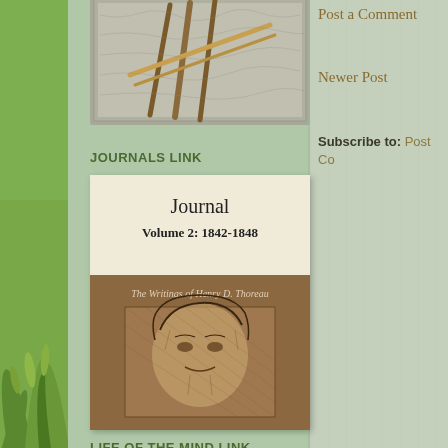[Figure (illustration): Abstract sketch/artwork showing diagonal lines (twigs or sticks) over a textured background, in a grey-green framed square]
JOURNALS LINK
[Figure (photo): Book cover image: 'Journal Volume 2: 1842-1848' from The Writings of Henry D. Thoreau, with a portrait sketch of Thoreau on a brown background]
LIFE OF THE MIND LINK
Post a Comment
Newer Post
Subscribe to: Post Co